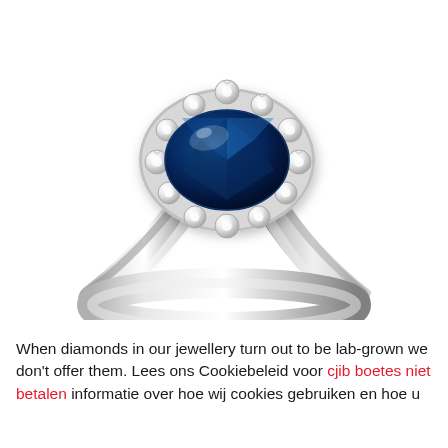[Figure (photo): A silver/white gold ring with a large oval deep blue sapphire gemstone in the center, surrounded by a halo of round brilliant-cut diamonds. The ring has a simple polished band. The ring is photographed on a white background at an angle.]
When diamonds in our jewellery turn out to be lab-grown we don't offer them. Lees ons Cookiebeleid voor cjib boetes niet betalen informatie over hoe wij cookies gebruiken en hoe u